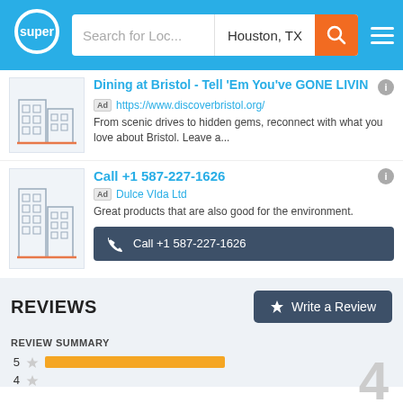super | Search for Loc... | Houston, TX
Dining at Bristol - Tell 'Em You've GONE LIVIN
Ad https://www.discoverbristol.org/ From scenic drives to hidden gems, reconnect with what you love about Bristol. Leave a...
Call +1 587-227-1626
Ad Dulce VIda Ltd
Great products that are also good for the environment.
Call +1 587-227-1626
REVIEWS
REVIEW SUMMARY
5 ★ [bar] 4